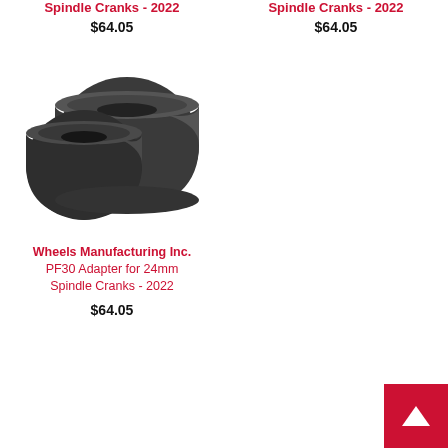Spindle Cranks - 2022
$64.05
Spindle Cranks - 2022
$64.05
[Figure (photo): Two dark grey/black PF30 adapter rings for 24mm spindle cranks, showing circular bearing cups]
Wheels Manufacturing Inc. PF30 Adapter for 24mm Spindle Cranks - 2022
$64.05